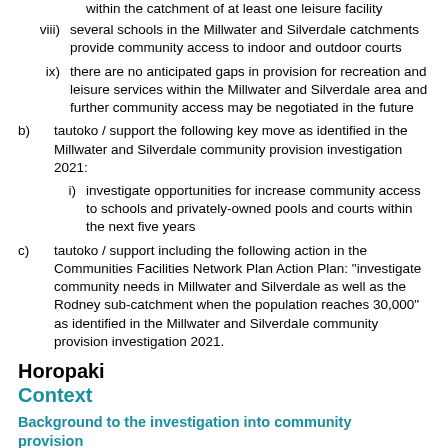viii) several schools in the Millwater and Silverdale catchments provide community access to indoor and outdoor courts
ix) there are no anticipated gaps in provision for recreation and leisure services within the Millwater and Silverdale area and further community access may be negotiated in the future
b) tautoko / support the following key move as identified in the Millwater and Silverdale community provision investigation 2021:
i) investigate opportunities for increase community access to schools and privately-owned pools and courts within the next five years
c) tautoko / support including the following action in the Communities Facilities Network Plan Action Plan: "investigate community needs in Millwater and Silverdale as well as the Rodney sub-catchment when the population reaches 30,000" as identified in the Millwater and Silverdale community provision investigation 2021.
Horopaki
Context
Background to the investigation into community provision